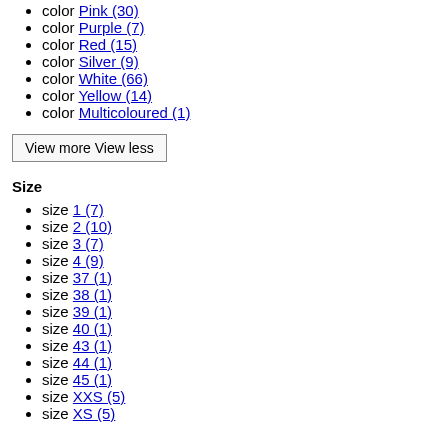color Pink (30)
color Purple (7)
color Red (15)
color Silver (9)
color White (66)
color Yellow (14)
color Multicoloured (1)
View more View less
Size
size 1 (7)
size 2 (10)
size 3 (7)
size 4 (9)
size 37 (1)
size 38 (1)
size 39 (1)
size 40 (1)
size 43 (1)
size 44 (1)
size 45 (1)
size XXS (5)
size XS (5)